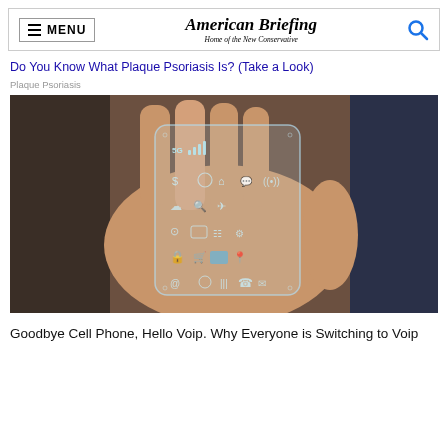American Briefing — Home of the New Conservative
Do You Know What Plaque Psoriasis Is? (Take a Look)
Plaque Psoriasis
[Figure (photo): A pair of hands holding a transparent futuristic smartphone displaying app icons and a 5G signal indicator]
Goodbye Cell Phone, Hello Voip. Why Everyone is Switching to Voip